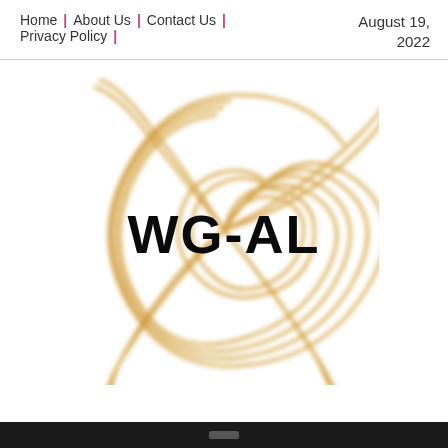Home | About Us | Contact Us | Privacy Policy | August 19, 2022
[Figure (logo): WG-AL logo: bold black text 'WG-AL' centered inside a golden spiral swirl design on white background]